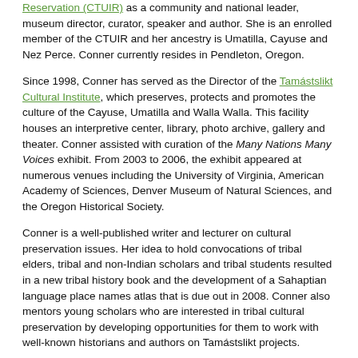Reservation (CTUIR) as a community and national leader, museum director, curator, speaker and author. She is an enrolled member of the CTUIR and her ancestry is Umatilla, Cayuse and Nez Perce. Conner currently resides in Pendleton, Oregon.
Since 1998, Conner has served as the Director of the Tamástslikt Cultural Institute, which preserves, protects and promotes the culture of the Cayuse, Umatilla and Walla Walla. This facility houses an interpretive center, library, photo archive, gallery and theater. Conner assisted with curation of the Many Nations Many Voices exhibit. From 2003 to 2006, the exhibit appeared at numerous venues including the University of Virginia, American Academy of Sciences, Denver Museum of Natural Sciences, and the Oregon Historical Society.
Conner is a well-published writer and lecturer on cultural preservation issues. Her idea to hold convocations of tribal elders, tribal and non-Indian scholars and tribal students resulted in a new tribal history book and the development of a Sahaptian language place names atlas that is due out in 2008. Conner also mentors young scholars who are interested in tribal cultural preservation by developing opportunities for them to work with well-known historians and authors on Tamástslikt projects.
Conner currently serves on the board of the Wallowa Homeland Project and the Oregon Cultural Trust as a special advisor for tribal issues. She also served as Vice-President of the National Council of the Lewis &Clark Bicentennial Board of Directors. She has previously served on numerous Boards and committees including the Oregon Parks and Recreation Commission (2000 to 2004); Oregon Council for the Humanities Board (2000 to 2001) and the Governors Task Force for Cultural Development, Oregon (2000 to 2001).